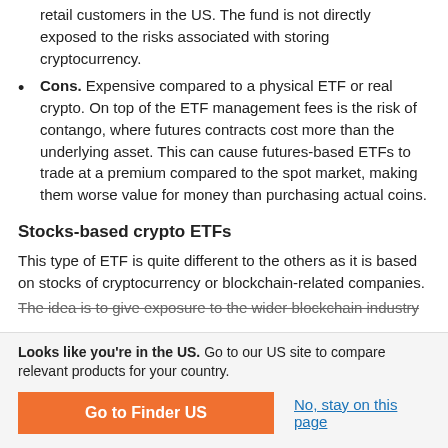retail customers in the US. The fund is not directly exposed to the risks associated with storing cryptocurrency.
Cons. Expensive compared to a physical ETF or real crypto. On top of the ETF management fees is the risk of contango, where futures contracts cost more than the underlying asset. This can cause futures-based ETFs to trade at a premium compared to the spot market, making them worse value for money than purchasing actual coins.
Stocks-based crypto ETFs
This type of ETF is quite different to the others as it is based on stocks of cryptocurrency or blockchain-related companies. The idea is to give exposure to the wider blockchain industry
Looks like you're in the US. Go to our US site to compare relevant products for your country.
Go to Finder US
No, stay on this page